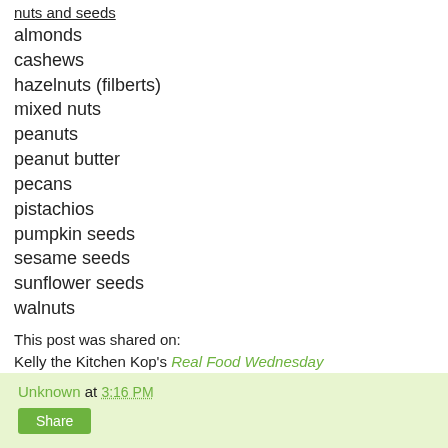nuts and seeds
almonds
cashews
hazelnuts (filberts)
mixed nuts
peanuts
peanut butter
pecans
pistachios
pumpkin seeds
sesame seeds
sunflower seeds
walnuts
This post was shared on:
Kelly the Kitchen Kop's Real Food Wednesday
Unknown at 3:16 PM
Share